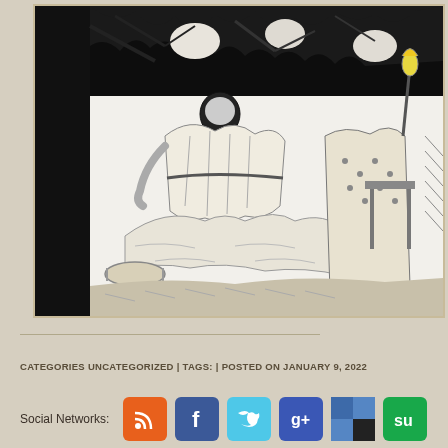[Figure (illustration): Black and white ink illustration showing a robed figure kneeling or crouching on the ground amid trees and foliage, with another figure holding a torch or lamp visible to the right side. The style is detailed cross-hatching typical of 19th century engravings.]
CATEGORIES UNCATEGORIZED | TAGS: | POSTED ON JANUARY 9, 2022
Social Networks: [RSS icon] [Facebook icon] [Twitter icon] [Google+ icon] [Delicious icon] [StumbleUpon icon]